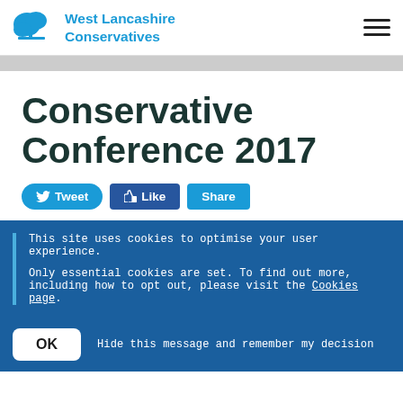West Lancashire Conservatives
Conservative Conference 2017
Tweet  Like  Share
This site uses cookies to optimise your user experience.

Only essential cookies are set. To find out more, including how to opt out, please visit the Cookies page.
OK  Hide this message and remember my decision